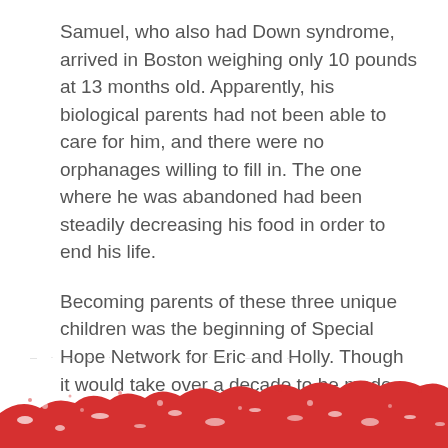Samuel, who also had Down syndrome, arrived in Boston weighing only 10 pounds at 13 months old. Apparently, his biological parents had not been able to care for him, and there were no orphanages willing to fill in. The one where he was abandoned had been steadily decreasing his food in order to end his life.
Becoming parents of these three unique children was the beginning of Special Hope Network for Eric and Holly. Though it would take over a decade to be made official, Special Hope started in the heart of this family.
[Figure (illustration): Red paint splash / brushstroke texture at the bottom of the page with white speckles, decorative background element]